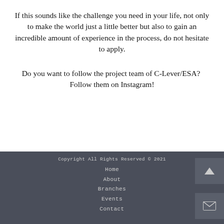If this sounds like the challenge you need in your life, not only to make the world just a little better but also to gain an incredible amount of experience in the process, do not hesitate to apply.
Do you want to follow the project team of C-Lever/ESA?  Follow them on Instagram!
Copyright All Rights Reserved © 2021
Home
About
Branches
Events
Contact